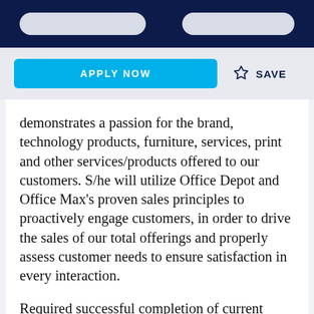APPLY NOW
SAVE
demonstrates a passion for the brand, technology products, furniture, services, print and other services/products offered to our customers. S/he will utilize Office Depot and Office Max's proven sales principles to proactively engage customers, in order to drive the sales of our total offerings and properly assess customer needs to ensure satisfaction in every interaction.
Required successful completion of current